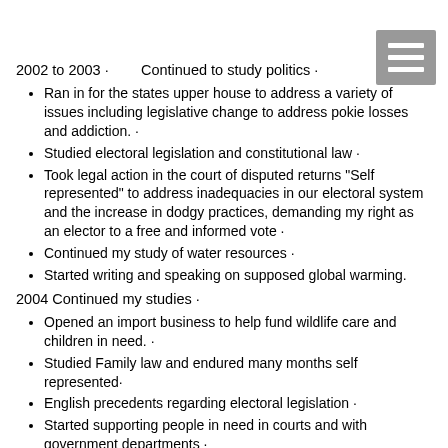2002 to 2003 · Continued to study politics ·
Ran in for the states upper house to address a variety of issues including legislative change to address pokie losses and addiction. ·
Studied electoral legislation and constitutional law ·
Took legal action in the court of disputed returns "Self represented" to address inadequacies in our electoral system and the increase in dodgy practices, demanding my right as an elector to a free and informed vote ·
Continued my study of water resources ·
Started writing and speaking on supposed global warming.
2004 Continued my studies ·
Opened an import business to help fund wildlife care and children in need. ·
Studied Family law and endured many months self represented·
English precedents regarding electoral legislation ·
Started supporting people in need in courts and with government departments ·
Worked with the aboriginal community both in SA and the NT ·
Supported issues with immigration inequities ·
Performed an in-depth look into the diversion of police services and the accuracy of electronic speed detection. ·
Spent time studying nuclear power generation and green power …